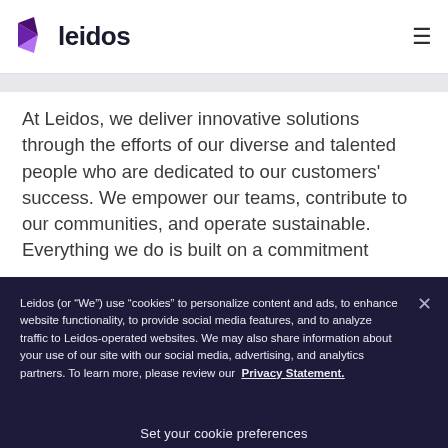[Figure (logo): Leidos logo with purple geometric arrow/play-button icon and 'leidos' text in dark navy]
At Leidos, we deliver innovative solutions through the efforts of our diverse and talented people who are dedicated to our customers' success. We empower our teams, contribute to our communities, and operate sustainable. Everything we do is built on a commitment
Leidos (or “We”) use “cookies” to personalize content and ads, to enhance website functionality, to provide social media features, and to analyze traffic to Leidos-operated websites. We may also share information about your use of our site with our social media, advertising, and analytics partners. To learn more, please review our Privacy Statement.
Set your cookie preferences